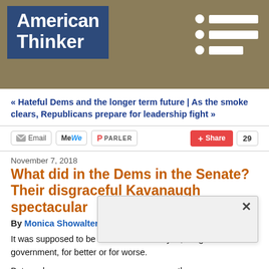American Thinker
« Hateful Dems and the longer term future | As the smoke clears, Republicans prepare for leadership fight »
Email | MeWe | PARLER | Share 29
November 7, 2018
What did in the Dems in the Senate? Their disgraceful Kavanaugh spectacular
By Monica Showalter
It was supposed to be a blue wave. And yes, we got divided government, for better or for worse.
But we d... the Republicans... enate.
One can... od